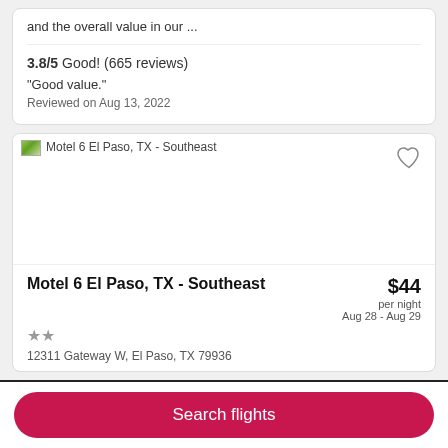and the overall value in our ...
3.8/5 Good! (665 reviews)
"Good value."
Reviewed on Aug 13, 2022
[Figure (photo): Hotel image for Motel 6 El Paso, TX - Southeast with a broken/placeholder image icon]
Motel 6 El Paso, TX - Southeast
$44 per night Aug 28 - Aug 29
12311 Gateway W, El Paso, TX 79936
Search flights